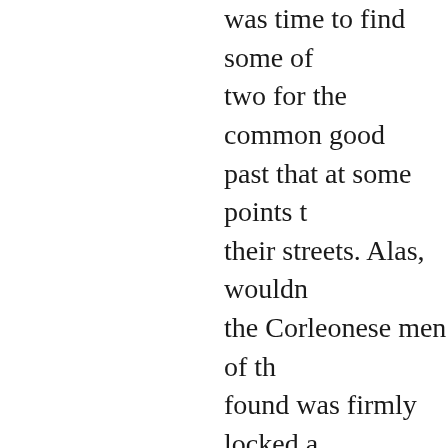was time to find some of two for the common good past that at some points t their streets. Alas, wouldn the Corleonese men of th found was firmly locked a for this: no more murder i out one too many Hail Ma nicked for the umpteenth want to promote yourself youâ€™d better open the than Don Corleone-brand
Monsieur and I were now all the signs led us on one found one pointing up a d the outline of the carved b we checked out the glass from local digs but thankf With more time on our h